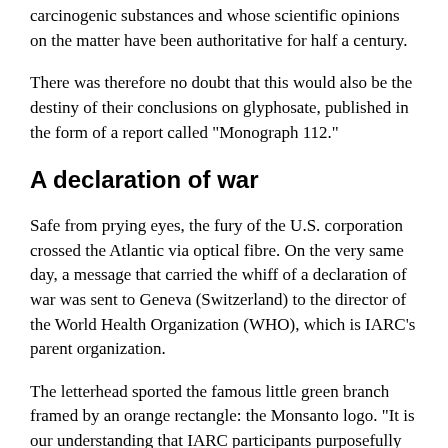carcinogenic substances and whose scientific opinions on the matter have been authoritative for half a century.
There was therefore no doubt that this would also be the destiny of their conclusions on glyphosate, published in the form of a report called "Monograph 112."
A declaration of war
Safe from prying eyes, the fury of the U.S. corporation crossed the Atlantic via optical fibre. On the very same day, a message that carried the whiff of a declaration of war was sent to Geneva (Switzerland) to the director of the World Health Organization (WHO), which is IARC's parent organization.
The letterhead sported the famous little green branch framed by an orange rectangle: the Monsanto logo. "It is our understanding that IARC participants purposefully chose to disregard dozens of studies and publicly available regulatory assessments that support the conclusion that glyphosate does not pose a human health risk," wrote an accusatory Philip Miller, Monsanto's Vice